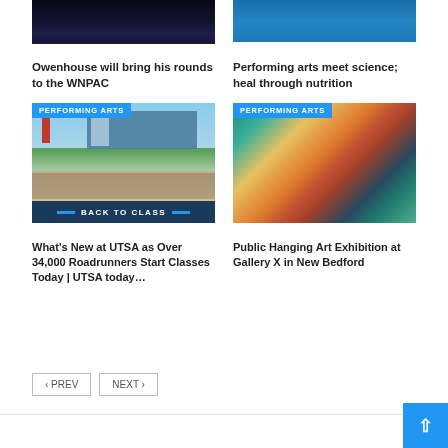[Figure (photo): Basketball players or performers on a dark blue stage/court background]
Owenhouse will bring his rounds to the WNPAC
[Figure (photo): Tennis players on a blue court, legs visible]
Performing arts meet science; heal through nutrition
[Figure (photo): UTSA campus with people walking, 'Back to Class' banner, 'Performing Arts' label]
What's New at UTSA as Over 34,000 Roadrunners Start Classes Today | UTSA today…
[Figure (photo): Abstract colorful art painting for Public Hanging Art Exhibition, 'Performing Arts' label]
Public Hanging Art Exhibition at Gallery X in New Bedford